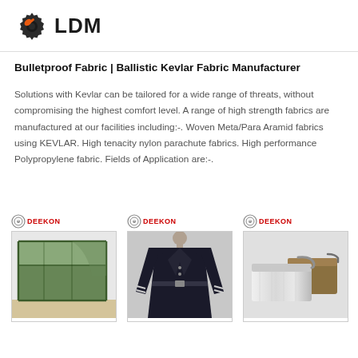[Figure (logo): LDM logo with gear icon and orange wrench symbol, black text LDM]
Bulletproof Fabric | Ballistic Kevlar Fabric Manufacturer
Solutions with Kevlar can be tailored for a wide range of threats, without compromising the highest comfort level. A range of high strength fabrics are manufactured at our facilities including:-. Woven Meta/Para Aramid fabrics using KEVLAR. High tenacity nylon parachute fabrics. High performance Polypropylene fabric. Fields of Application are:-.
[Figure (photo): Three product photos with DEEKON branding: a green military tent/shelter, a dark military coat/uniform on a mannequin, and aluminum mess tins/containers]
DEEKON product images: military tent, military coat, metal mess tins